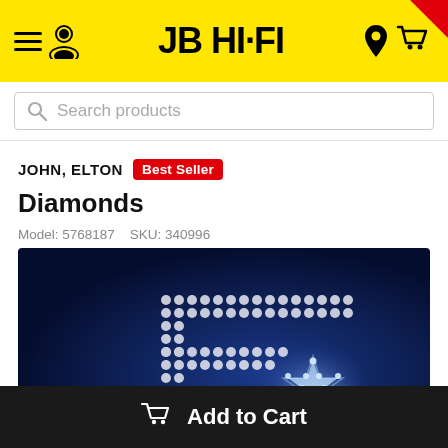[Figure (screenshot): JB HI-FI website header with yellow background, hamburger menu, user icon, JB HI-FI logo, location pin icon, and shopping cart icon. Red triangle in top-right corner.]
[Figure (screenshot): Search bar with magnifying glass icon and placeholder text 'Search products']
JOHN, ELTON
Best Seller
Diamonds
Model: 5768187    SKU: 340996
[Figure (photo): Album cover for Elton John Diamonds. Dark blue background with a large dotted/diamond-studded letter 'E' shape and a glowing star in the lower right area.]
Add to Cart